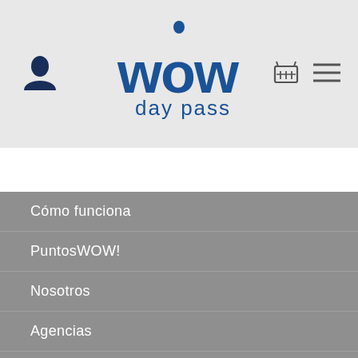[Figure (logo): WOW day pass logo in dark blue with an exclamation mark above the W]
Cómo funciona
PuntosWOW!
Nosotros
Agencias
puntoswow